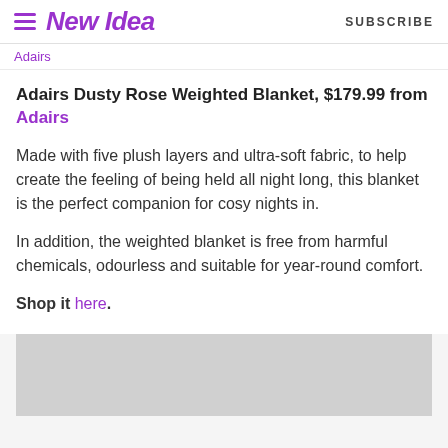New Idea  SUBSCRIBE
Adairs
Adairs Dusty Rose Weighted Blanket, $179.99 from Adairs
Made with five plush layers and ultra-soft fabric, to help create the feeling of being held all night long, this blanket is the perfect companion for cosy nights in.
In addition, the weighted blanket is free from harmful chemicals, odourless and suitable for year-round comfort.
Shop it here.
[Figure (other): Gray advertisement/placeholder box at the bottom of the article]